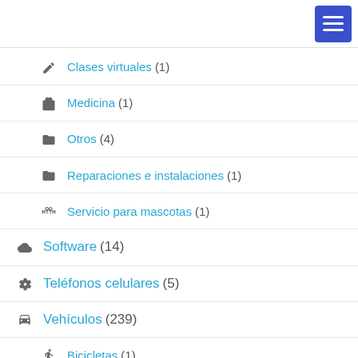Navigation menu header with hamburger button
Clases virtuales (1)
Medicina (1)
Otros (4)
Reparaciones e instalaciones (1)
Servicio para mascotas (1)
Software (14)
Teléfonos celulares (5)
Vehículos (239)
Bicicletas (1)
Camiones (1)